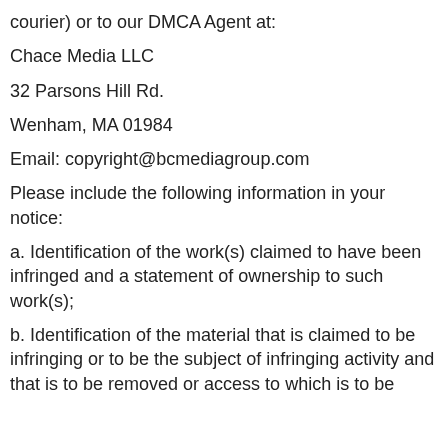courier) or to our DMCA Agent at:
Chace Media LLC
32 Parsons Hill Rd.
Wenham, MA 01984
Email: copyright@bcmediagroup.com
Please include the following information in your notice:
a. Identification of the work(s) claimed to have been infringed and a statement of ownership to such work(s);
b. Identification of the material that is claimed to be infringing or to be the subject of infringing activity and that is to be removed or access to which is to be